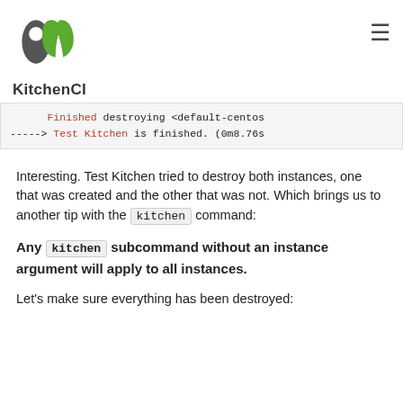[Figure (logo): KitchenCI logo: two abstract shapes (dark grey oval and green leaf/bean shapes) above the text 'KitchenCI' in bold sans-serif]
Finished destroying <default-centos
-----> Test Kitchen is finished. (0m8.76s)
Interesting. Test Kitchen tried to destroy both instances, one that was created and the other that was not. Which brings us to another tip with the kitchen command:
Any kitchen subcommand without an instance argument will apply to all instances.
Let's make sure everything has been destroyed: